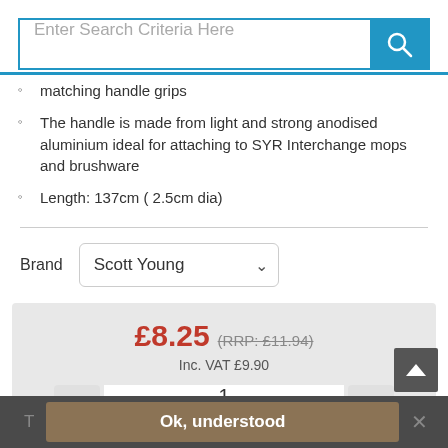[Figure (screenshot): Search bar with placeholder text 'Enter Search Criteria Here' and blue search button with magnifying glass icon]
matching handle grips
The handle is made from light and strong anodised aluminium ideal for attaching to SYR Interchange mops and brushware
Length: 137cm ( 2.5cm dia)
Brand   Scott Young
£8.25 (RRP: £11.94)
Inc. VAT £9.90
1
Add to Basket
Ok, understood